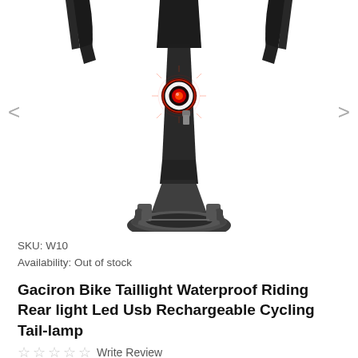[Figure (photo): Rear view of a bicycle with a red LED taillight glowing on the seat post, handlebars visible at top, front wheel and brake caliper visible at bottom. White background. Navigation arrows on left and right sides of image.]
SKU: W10
Availability: Out of stock
Gaciron Bike Taillight Waterproof Riding Rear light Led Usb Rechargeable Cycling Tail-lamp
☆ ☆ ☆ ☆ ☆ Write Review